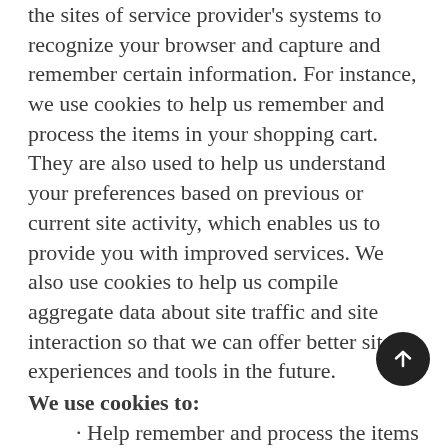the sites of service provider's systems to recognize your browser and capture and remember certain information. For instance, we use cookies to help us remember and process the items in your shopping cart. They are also used to help us understand your preferences based on previous or current site activity, which enables us to provide you with improved services. We also use cookies to help us compile aggregate data about site traffic and site interaction so that we can offer better site experiences and tools in the future.
We use cookies to:
· Help remember and process the items in the shopping cart.
· Keep track of advertisements.
You can choose to have your computer warn you each time a cookie is being sent, or you can choose to turn